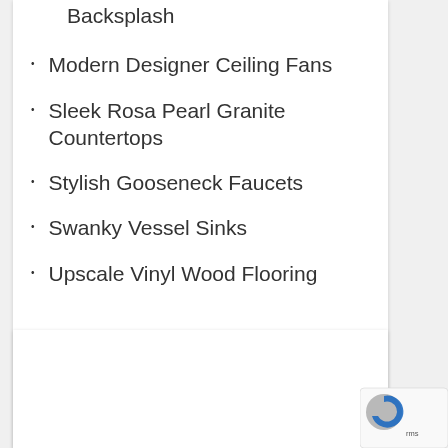Backsplash
Modern Designer Ceiling Fans
Sleek Rosa Pearl Granite Countertops
Stylish Gooseneck Faucets
Swanky Vessel Sinks
Upscale Vinyl Wood Flooring